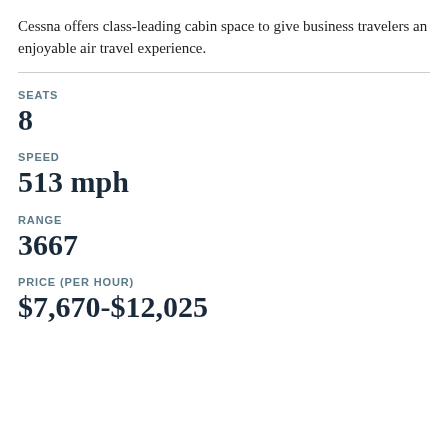Cessna offers class-leading cabin space to give business travelers an enjoyable air travel experience.
SEATS
8
SPEED
513 mph
RANGE
3667
PRICE (PER HOUR)
$7,670-$12,025